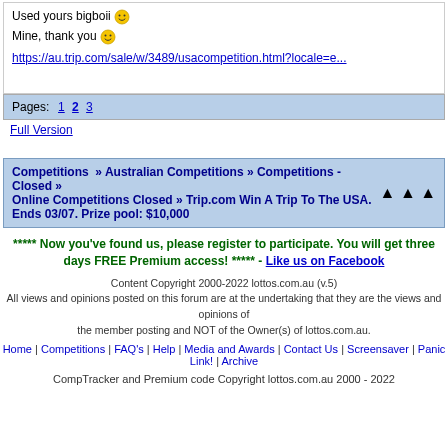Used yours bigboii 🙂
Mine, thank you 🙂
https://au.trip.com/sale/w/3489/usacompetition.html?locale=e...
Pages: 1 2 3
Full Version
Competitions » Australian Competitions » Competitions - Closed » Online Competitions Closed » Trip.com Win A Trip To The USA. Ends 03/07. Prize pool: $10,000
***** Now you've found us, please register to participate. You will get three days FREE Premium access! ***** - Like us on Facebook
Content Copyright 2000-2022 lottos.com.au (v.5)
All views and opinions posted on this forum are at the undertaking that they are the views and opinions of the member posting and NOT of the Owner(s) of lottos.com.au.
Home | Competitions | FAQ's | Help | Media and Awards | Contact Us | Screensaver | Panic Link! | Archive
CompTracker and Premium code Copyright lottos.com.au 2000 - 2022